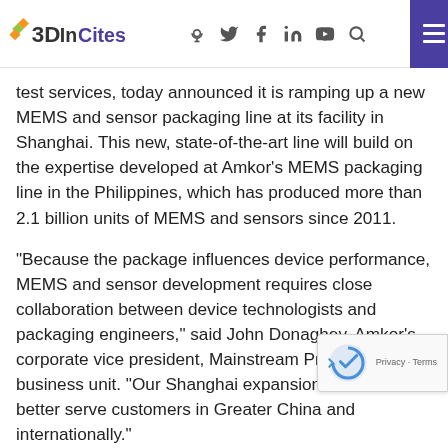3DInCites
test services, today announced it is ramping up a new MEMS and sensor packaging line at its facility in Shanghai. This new, state-of-the-art line will build on the expertise developed at Amkor’s MEMS packaging line in the Philippines, which has produced more than 2.1 billion units of MEMS and sensors since 2011.
“Because the package influences device performance, MEMS and sensor development requires close collaboration between device technologists and packaging engineers,” said John Donaghey, Amkor’s corporate vice president, Mainstream Products business unit. “Our Shanghai expansion allows us to better serve customers in Greater China and internationally.”
The sensor content of smartphones, Internet of Things devices, and smart automobiles is increasing rapidly.